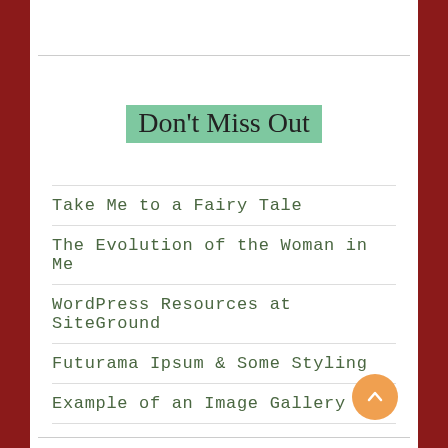Don't Miss Out
Take Me to a Fairy Tale
The Evolution of the Woman in Me
WordPress Resources at SiteGround
Futurama Ipsum & Some Styling
Example of an Image Gallery